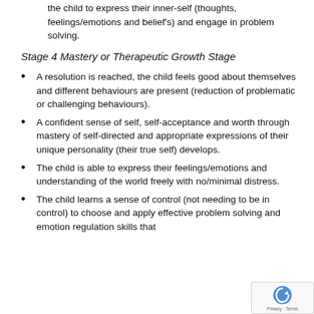the child to express their inner-self (thoughts, feelings/emotions and belief's) and engage in problem solving.
Stage 4 Mastery or Therapeutic Growth Stage
A resolution is reached, the child feels good about themselves and different behaviours are present (reduction of problematic or challenging behaviours).
A confident sense of self, self-acceptance and worth through mastery of self-directed and appropriate expressions of their unique personality (their true self) develops.
The child is able to express their feelings/emotions and understanding of the world freely with no/minimal distress.
The child learns a sense of control (not needing to be in control) to choose and apply effective problem solving and emotion regulation skills that